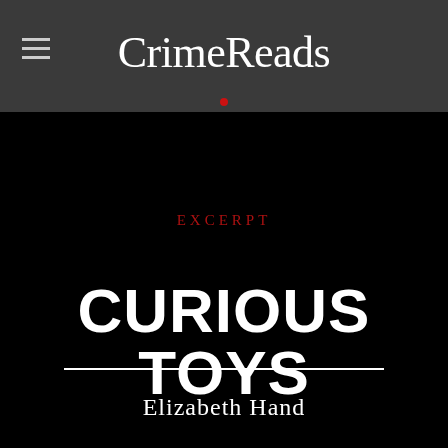CrimeReads
EXCERPT
CURIOUS TOYS
Elizabeth Hand